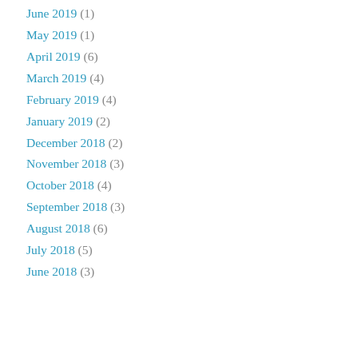June 2019 (1)
May 2019 (1)
April 2019 (6)
March 2019 (4)
February 2019 (4)
January 2019 (2)
December 2018 (2)
November 2018 (3)
October 2018 (4)
September 2018 (3)
August 2018 (6)
July 2018 (5)
June 2018 (3)